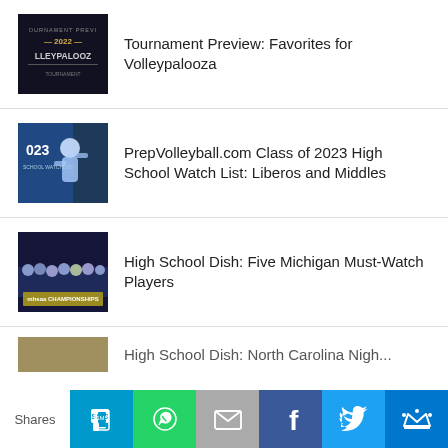[Figure (photo): Dark themed tournament preview thumbnail with text TOURNAMENT PREVIEW 2022 VOLLEYPALOOZA]
Tournament Preview: Favorites for Volleypalooza
[Figure (photo): Volleyball player in blue and white uniform, Class of 2023 High School Watch List]
PrepVolleyball.com Class of 2023 High School Watch List: Liberos and Middles
[Figure (photo): Group team photo with MHSAA Championships banner]
High School Dish: Five Michigan Must-Watch Players
[Figure (photo): Partial thumbnail, tan/olive colored]
High School Dish: North Carolina Nigh...
Shares
SMS share button
WhatsApp share button
Email share button
Facebook share button
Twitter share button
More share button